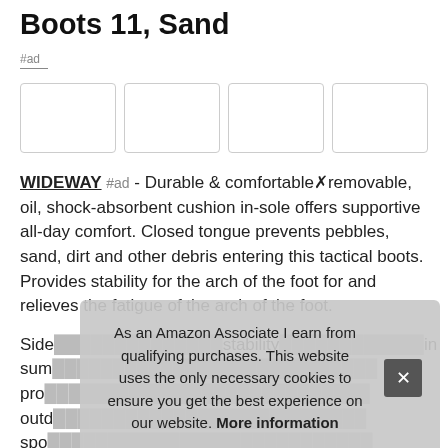Boots 11, Sand
#ad
[Figure (other): Four empty image placeholder boxes in a row]
WIDEWAY #ad - Durable & comfortable removable, oil, shock-absorbent cushion in-sole offers supportive all-day comfort. Closed tongue prevents pebbles, sand, dirt and other debris entering this tactical boots. Provides stability for the arch of the foot for and relieves the fatigue of the arch of the foot.
Side [partially obscured] stability [obscured] in sum[mary] pro[vides] outd[oor] spo[rts] traveling, mountaineering, construct, airsoft, and more
As an Amazon Associate I earn from qualifying purchases. This website uses the only necessary cookies to ensure you get the best experience on our website. More information